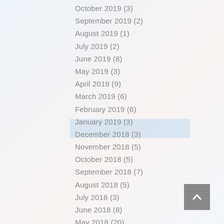October 2019 (3)
September 2019 (2)
August 2019 (1)
July 2019 (2)
June 2019 (8)
May 2019 (3)
April 2019 (9)
March 2019 (6)
February 2019 (6)
January 2019 (3)
December 2018 (3)
November 2018 (5)
October 2018 (5)
September 2018 (7)
August 2018 (5)
July 2018 (3)
June 2018 (8)
May 2018 (20)
April 2018 (20)
March 2018 (22)